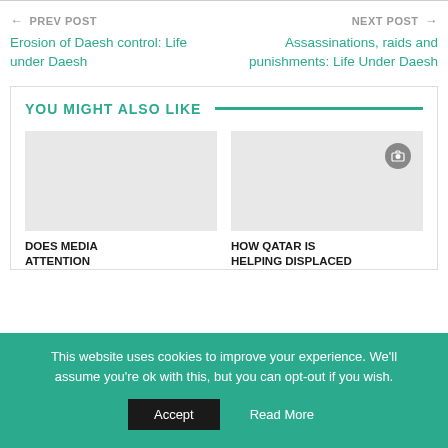← PREV POST
NEXT POST →
Erosion of Daesh control: Life under Daesh
Assassinations, raids and punishments: Life Under Daesh
YOU MIGHT ALSO LIKE
[Figure (photo): Placeholder image for article 1]
[Figure (photo): Placeholder image for article 2 with camera icon]
DOES MEDIA ATTENTION
HOW QATAR IS HELPING DISPLACED
This website uses cookies to improve your experience. We'll assume you're ok with this, but you can opt-out if you wish.
Accept
Read More